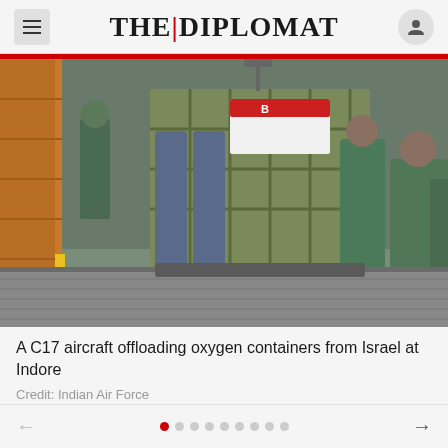THE DIPLOMAT
[Figure (photo): Military personnel in green flight suits offloading a large metal cargo container/crate from a C17 aircraft ramp. The container appears to hold cylindrical oxygen tanks. Viewed from inside/behind the aircraft ramp.]
A C17 aircraft offloading oxygen containers from Israel at Indore
Credit: Indian Air Force